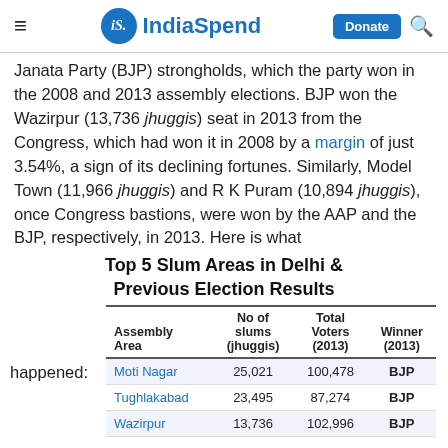IndiaSpend — Donate
Janata Party (BJP) strongholds, which the party won in the 2008 and 2013 assembly elections. BJP won the Wazirpur (13,736 jhuggis) seat in 2013 from the Congress, which had won it in 2008 by a margin of just 3.54%, a sign of its declining fortunes. Similarly, Model Town (11,966 jhuggis) and R K Puram (10,894 jhuggis), once Congress bastions, were won by the AAP and the BJP, respectively, in 2013. Here is what
Top 5 Slum Areas in Delhi & Previous Election Results
| Assembly Area | No of slums (jhuggis) | Total Voters (2013) | Winner (2013) |
| --- | --- | --- | --- |
| Moti Nagar | 25,021 | 100,478 | BJP |
| Tughlakabad | 23,495 | 87,274 | BJP |
| Wazirpur | 13,736 | 102,996 | BJP |
happened: